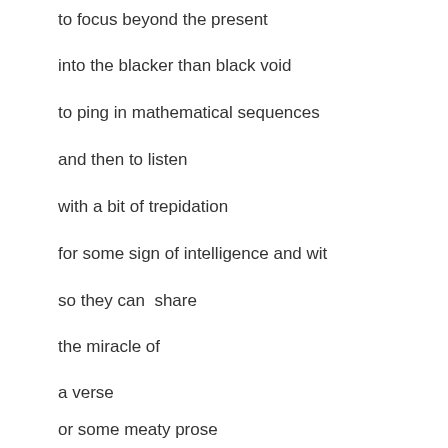to focus beyond the present
into the blacker than black void
to ping in mathematical sequences
and then to listen
with a bit of trepidation
for some sign of intelligence and wit
so they can  share
the miracle of
a verse
or some meaty prose